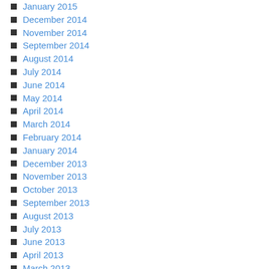January 2015
December 2014
November 2014
September 2014
August 2014
July 2014
June 2014
May 2014
April 2014
March 2014
February 2014
January 2014
December 2013
November 2013
October 2013
September 2013
August 2013
July 2013
June 2013
April 2013
March 2013
Recent Comments
oltimetv on A 4th for a Foodie